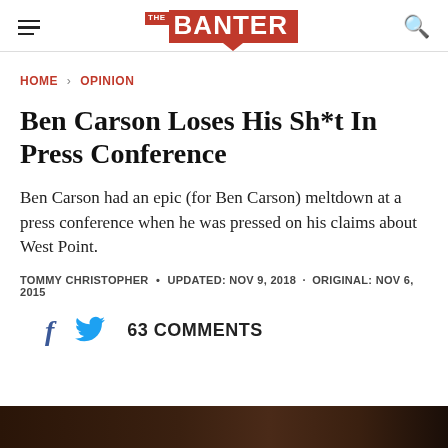Daily The Banter
HOME › OPINION
Ben Carson Loses His Sh*t In Press Conference
Ben Carson had an epic (for Ben Carson) meltdown at a press conference when he was pressed on his claims about West Point.
TOMMY CHRISTOPHER • UPDATED: NOV 9, 2018 · ORIGINAL: NOV 6, 2015
63 COMMENTS
[Figure (photo): Bottom strip showing a dark photo, partially visible]